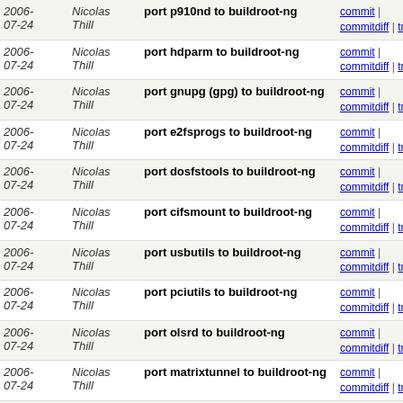| Date | Author | Message | Links |
| --- | --- | --- | --- |
| 2006-07-24 | Nicolas Thill | port p910nd to buildroot-ng | commit | commitdiff | tree |
| 2006-07-24 | Nicolas Thill | port hdparm to buildroot-ng | commit | commitdiff | tree |
| 2006-07-24 | Nicolas Thill | port gnupg (gpg) to buildroot-ng | commit | commitdiff | tree |
| 2006-07-24 | Nicolas Thill | port e2fsprogs to buildroot-ng | commit | commitdiff | tree |
| 2006-07-24 | Nicolas Thill | port dosfstools to buildroot-ng | commit | commitdiff | tree |
| 2006-07-24 | Nicolas Thill | port cifsmount to buildroot-ng | commit | commitdiff | tree |
| 2006-07-24 | Nicolas Thill | port usbutils to buildroot-ng | commit | commitdiff | tree |
| 2006-07-24 | Nicolas Thill | port pciutils to buildroot-ng | commit | commitdiff | tree |
| 2006-07-24 | Nicolas Thill | port olsrd to buildroot-ng | commit | commitdiff | tree |
| 2006-07-24 | Nicolas Thill | port matrixtunnel to buildroot-ng | commit | commitdiff | tree |
| 2006-07-24 | Nicolas Thill | add a lang subdir, port lua to buildroot-ng | commit | commitdiff | tree |
| 2006-07-24 | Nicolas Thill | port libosip2 to buildroot-ng | commit | commitdiff | tree |
| 2006-07-24 | Nicolas Thill | oops, i forgot to remove unneeded Config.in | commit | commitdiff | tree |